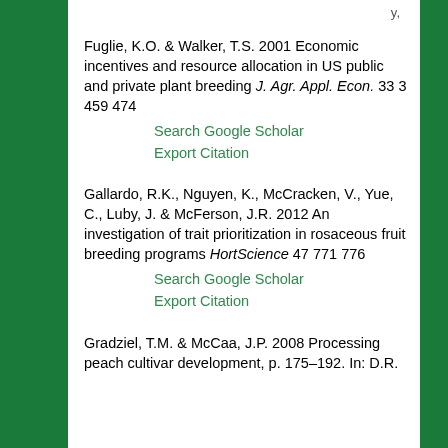Fuglie, K.O. & Walker, T.S. 2001 Economic incentives and resource allocation in US public and private plant breeding J. Agr. Appl. Econ. 33 3 459 474
Search Google Scholar | Export Citation
Gallardo, R.K., Nguyen, K., McCracken, V., Yue, C., Luby, J. & McFerson, J.R. 2012 An investigation of trait prioritization in rosaceous fruit breeding programs HortScience 47 771 776
Search Google Scholar | Export Citation
Gradziel, T.M. & McCaa, J.P. 2008 Processing peach cultivar development, p. 175–192. In: D.R.